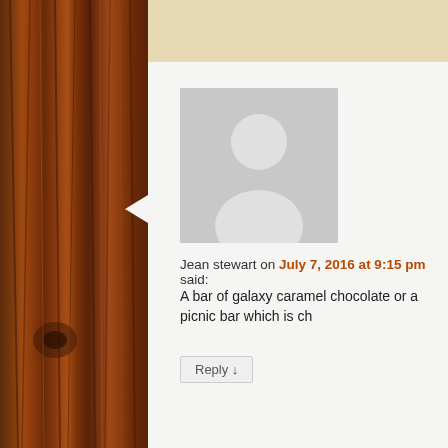Jean stewart on July 7, 2016 at 9:15 pm said: A bar of galaxy caramel chocolate or a picnic bar which is ch...
Reply ↓
Tamara Lewis on July 7, 2016 at 10:58 pm said: Dark Chocolate fudge brownies!
Reply ↓